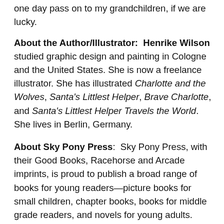one day pass on to my grandchildren, if we are lucky.
About the Author/Illustrator: Henrike Wilson studied graphic design and painting in Cologne and the United States. She is now a freelance illustrator. She has illustrated Charlotte and the Wolves, Santa's Littlest Helper, Brave Charlotte, and Santa's Littlest Helper Travels the World. She lives in Berlin, Germany.
About Sky Pony Press: Sky Pony Press, with their Good Books, Racehorse and Arcade imprints, is proud to publish a broad range of books for young readers—picture books for small children, chapter books, books for middle grade readers, and novels for young adults. Their list includes bestsellers for children who love to play Minecraft; stories told with LEGO bricks; books that teach lessons about tolerance, patience, and the environment, and much more. While not every title they publish becomes a New York